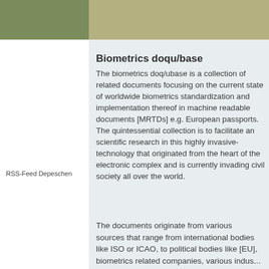Biometrics doqu/base
The biometrics doq/ubase is a collection of related documents focusing on the current state of worldwide biometrics standardization and implementation thereof in machine readable documents [MRTDs] e.g. European passports. The quintessential collection is to facilitate an open scientific research in this highly invasive technology that originated from the heart of the electronic complex and is currently invading civil society all over the world.
RSS-Feed Depeschen
The documents originate from various sources that range from international bodies like ISO or ICAO, to political bodies like [EU], biometrics related companies, various indus...